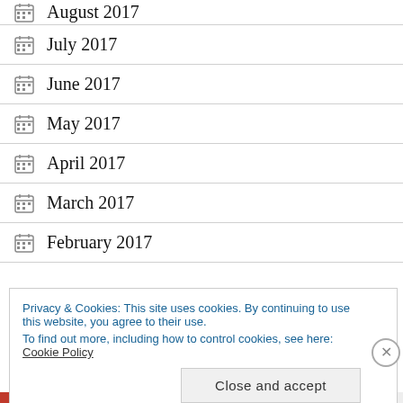August 2017
July 2017
June 2017
May 2017
April 2017
March 2017
February 2017
Privacy & Cookies: This site uses cookies. By continuing to use this website, you agree to their use. To find out more, including how to control cookies, see here: Cookie Policy
Close and accept